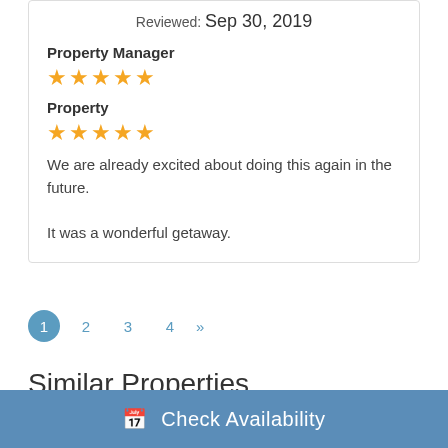Reviewed: Sep 30, 2019
Property Manager
[Figure (other): 5 orange star rating icons]
Property
[Figure (other): 5 orange star rating icons]
We are already excited about doing this again in the future. It was a wonderful getaway.
1  2  3  4  »
Similar Properties
Check Availability